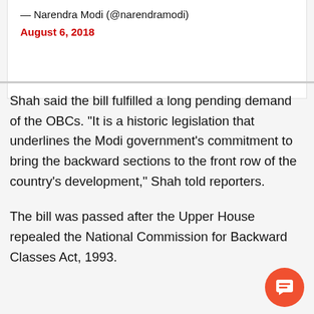— Narendra Modi (@narendramodi) August 6, 2018
Shah said the bill fulfilled a long pending demand of the OBCs. "It is a historic legislation that underlines the Modi government's commitment to bring the backward sections to the front row of the country's development," Shah told reporters.
The bill was passed after the Upper House repealed the National Commission for Backward Classes Act, 1993.